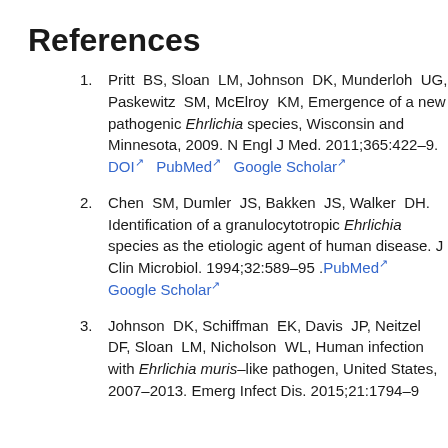References
Pritt BS, Sloan LM, Johnson DK, Munderloh UG, Paskewitz SM, McElroy KM, Emergence of a new pathogenic Ehrlichia species, Wisconsin and Minnesota, 2009. N Engl J Med. 2011;365:422–9. DOI PubMed Google Scholar
Chen SM, Dumler JS, Bakken JS, Walker DH. Identification of a granulocytotropic Ehrlichia species as the etiologic agent of human disease. J Clin Microbiol. 1994;32:589–95 .PubMed Google Scholar
Johnson DK, Schiffman EK, Davis JP, Neitzel DF, Sloan LM, Nicholson WL, Human infection with Ehrlichia muris–like pathogen, United States, 2007–2013. Emerg Infect Dis. 2015;21:1794–9